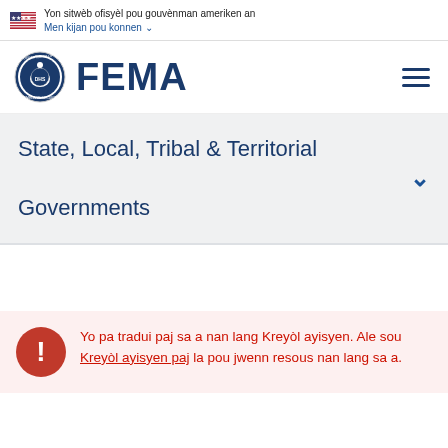Yon sitwèb ofisyèl pou gouvènman ameriken an Men kijan pou konnen
[Figure (logo): FEMA logo with DHS seal]
State, Local, Tribal & Territorial Governments
Yo pa tradui paj sa a nan lang Kreyòl ayisyen. Ale sou Kreyòl ayisyen paj la pou jwenn resous nan lang sa a.